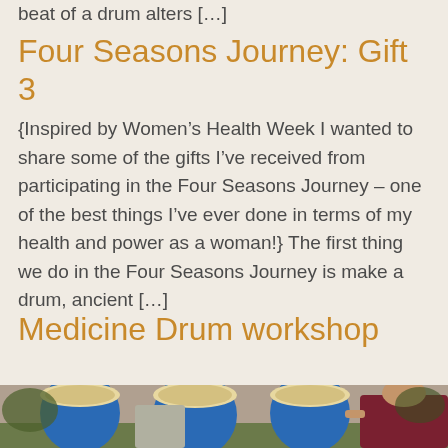beat of a drum alters […]
Four Seasons Journey: Gift 3
{Inspired by Women's Health Week I wanted to share some of the gifts I've received from participating in the Four Seasons Journey – one of the best things I've ever done in terms of my health and power as a woman!} The first thing we do in the Four Seasons Journey is make a drum, ancient […]
Medicine Drum workshop
[Figure (photo): Group of people holding large blue and tan frame drums outdoors, with trees and foliage in the background.]